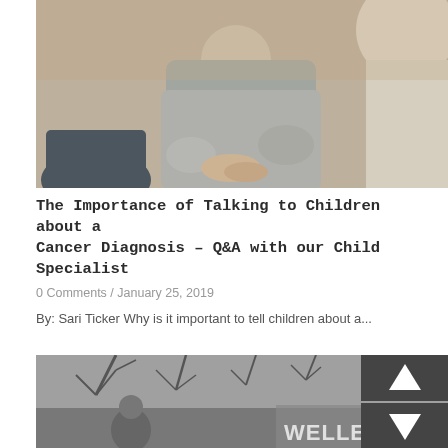[Figure (photo): Two people sitting together in conversation, one wearing a grey sweatshirt with hands clasped, seen from a counseling/therapy setting]
The Importance of Talking to Children about a Cancer Diagnosis – Q&A with our Child Specialist
0 Comments / January 25, 2019
By: Sari Ticker Why is it important to tell children about a...
[Figure (photo): Black and white photo showing a wellness center sign with trees in background and a person visible]
[Figure (other): Navigation arrows: up arrow button and down arrow button, dark grey background]